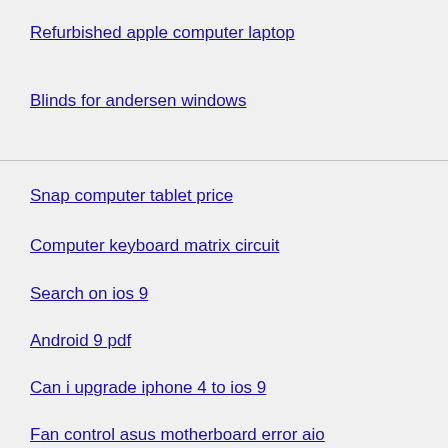Refurbished apple computer laptop
Blinds for andersen windows
Snap computer tablet price
Computer keyboard matrix circuit
Search on ios 9
Android 9 pdf
Can i upgrade iphone 4 to ios 9
Fan control asus motherboard error aio
Hp computer startup problems